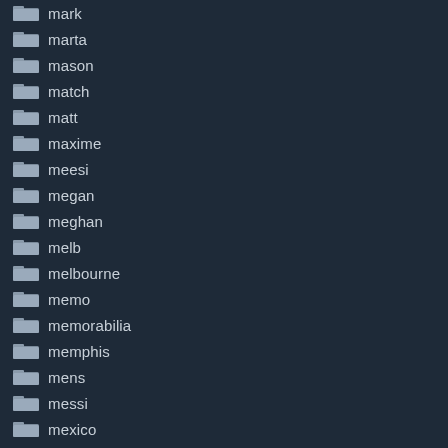mark
marta
mason
match
matt
maxime
meesi
megan
meghan
melb
melbourne
memo
memorabilia
memphis
mens
messi
mexico
michael